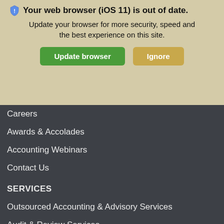[Figure (screenshot): Browser update notification banner overlaying a website navigation menu. Banner has beige/tan background with shield icon, bold title 'Your web browser (iOS 11) is out of date.', subtitle text, and two buttons: green 'Update browser' and tan 'Ignore'.]
Careers
Awards & Accolades
Accounting Webinars
Contact Us
SERVICES
Outsourced Accounting & Advisory Services
Audit & Review Services
Business Consulting Services
IRS Audit Representation
Estate & Trust Services
Forensic Accounting
Human Resources Services
Peer Reviews
Retirement & Employee Benefit Plans